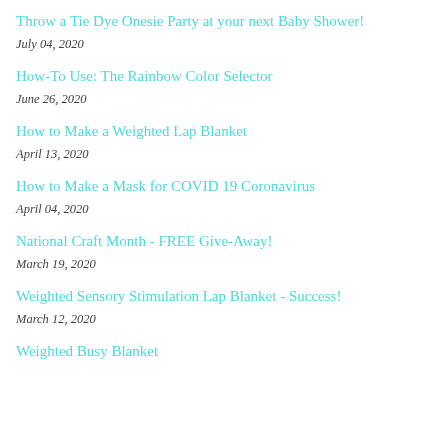Throw a Tie Dye Onesie Party at your next Baby Shower!
July 04, 2020
How-To Use: The Rainbow Color Selector
June 26, 2020
How to Make a Weighted Lap Blanket
April 13, 2020
How to Make a Mask for COVID 19 Coronavirus
April 04, 2020
National Craft Month - FREE Give-Away!
March 19, 2020
Weighted Sensory Stimulation Lap Blanket - Success!
March 12, 2020
Weighted Busy Blanket